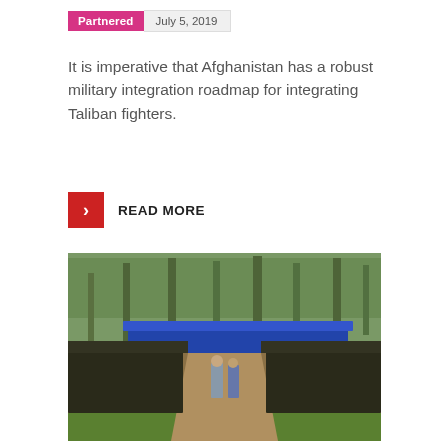Partnered   July 5, 2019
It is imperative that Afghanistan has a robust military integration roadmap for integrating Taliban fighters.
READ MORE
[Figure (photo): Large group of armed fighters in dark uniforms with orange berets assembled in formation on muddy ground, with palm trees in background and a blue canopy tent. Two officers in lighter uniforms stand in the center aisle.]